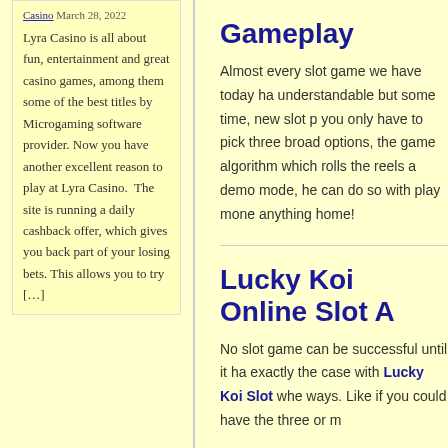Casino March 28, 2022
Lyra Casino is all about fun, entertainment and great casino games, among them some of the best titles by Microgaming software provider. Now you have another excellent reason to play at Lyra Casino. The site is running a daily cashback offer, which gives you back part of your losing bets. This allows you to try […]
Gameplay
Almost every slot game we have today ha... understandable but some time, new slot p... you only have to pick three broad options, the game algorithm which rolls the reels a... demo mode, he can do so with play mone... anything home!
Lucky Koi Online Slot A...
No slot game can be successful until it ha... exactly the case with Lucky Koi Slot whe... ways. Like if you could have the three or m...